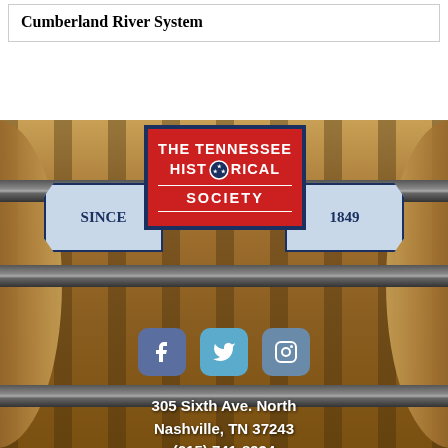Cumberland River System
[Figure (logo): The Tennessee Historical Society logo on a barrel background. Red rectangle with dark blue border showing 'THE TENNESSEE HISTORICAL SOCIETY' with a tristar emblem. Flanking ribbon banners read 'SINCE' and '1849'. Social media icons (Facebook, Twitter, Instagram) below.]
305 Sixth Ave. North
Nashville, TN 37243
(615) 741-8934